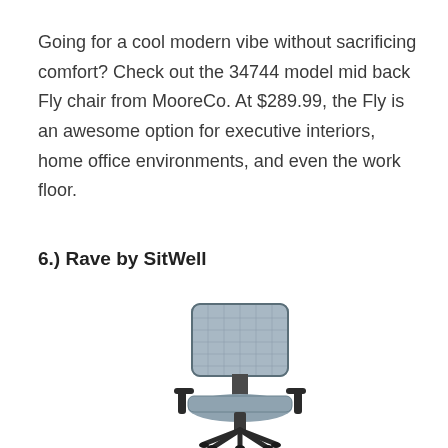Going for a cool modern vibe without sacrificing comfort? Check out the 34744 model mid back Fly chair from MooreCo. At $289.99, the Fly is an awesome option for executive interiors, home office environments, and even the work floor.
6.) Rave by SitWell
[Figure (photo): A mid-back office chair with gray mesh back, gray fabric seat, black armrests and black base/casters, shown from a slight front-left angle.]